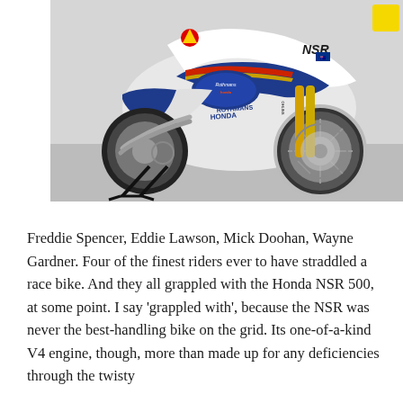[Figure (photo): A Rothmans Honda NSR 500 racing motorcycle displayed indoors on a paddock stand, showing white, blue and red livery with Shell and NSR branding, yellow front forks, and an Australian flag decal.]
Freddie Spencer, Eddie Lawson, Mick Doohan, Wayne Gardner. Four of the finest riders ever to have straddled a race bike. And they all grappled with the Honda NSR 500, at some point. I say 'grappled with', because the NSR was never the best-handling bike on the grid. Its one-of-a-kind V4 engine, though, more than made up for any deficiencies through the twisty